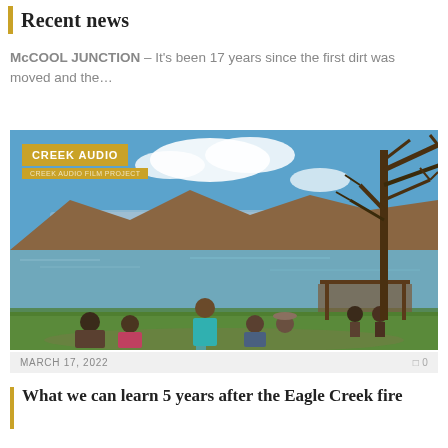Recent news
McCOOL JUNCTION – It's been 17 years since the first dirt was moved and the...
[Figure (photo): People sitting on a grassy lakeshore looking out at a lake with mountains and smoke in the background, a large bare tree on the right, a picnic shelter, and a 'CREEK AUDIO' badge overlay in the upper left]
MARCH 17, 2022
0
What we can learn 5 years after the Eagle Creek fire